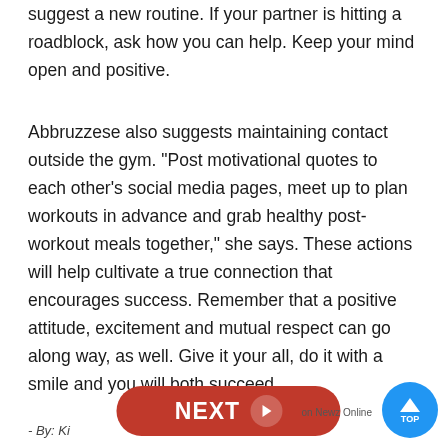suggest a new routine. If your partner is hitting a roadblock, ask how you can help. Keep your mind open and positive.
Abbruzzese also suggests maintaining contact outside the gym. "Post motivational quotes to each other's social media pages, meet up to plan workouts in advance and grab healthy post-workout meals together," she says. These actions will help cultivate a true connection that encourages success. Remember that a positive attitude, excitement and mutual respect can go along way, as well. Give it your all, do it with a smile and you will both succeed.
- By: K... on Newz Online